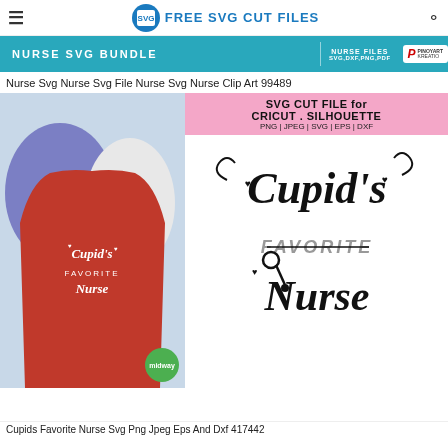FREE SVG CUT FILES
[Figure (photo): Banner advertisement for Nurse SVG Bundle with teal background, showing NURSE SVG BUNDLE text, NURSE FILES SVG,DXF,PNG,PDF, and Pinoyart Kreatio logo]
Nurse Svg Nurse Svg File Nurse Svg Nurse Clip Art 99489
[Figure (illustration): Two-part image: left side shows a red t-shirt with white Cupid's Favorite Nurse SVG design on blue/white shirts background; right side shows the SVG cut file preview on white background with pink banner reading SVG CUT FILE for CRICUT . SILHOUETTE PNG | JPEG | SVG | EPS | DXF, and Cupid's Favorite Nurse lettering art in black with stethoscope decoration]
Cupids Favorite Nurse Svg Png Jpeg Eps And Dxf 417442